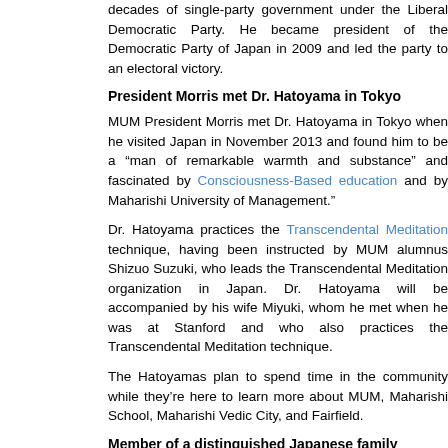decades of single-party government under the Liberal Democratic Party. He became president of the Democratic Party of Japan in 2009 and led the party to an electoral victory.
President Morris met Dr. Hatoyama in Tokyo
MUM President Morris met Dr. Hatoyama in Tokyo when he visited Japan in November 2013 and found him to be a “man of remarkable warmth and substance” and fascinated by Consciousness-Based education and by Maharishi University of Management.
Dr. Hatoyama practices the Transcendental Meditation technique, having been instructed by MUM alumnus Shizuo Suzuki, who leads the Transcendental Meditation organization in Japan. Dr. Hatoyama will be accompanied by his wife Miyuki, whom he met when he was at Stanford and who also practices the Transcendental Meditation technique.
The Hatoyamas plan to spend time in the community while they’re here to learn more about MUM, Maharishi School, Maharishi Vedic City, and Fairfield.
Member of a distinguished Japanese family
Dr. Hatoyama is a member of a distinguished Japanese family that has a long history of government service. His great-grandfather was the speaker of the House of Representatives in Japan’s legislature in the late 19th century. His grandfather was prime minister of Japan in the 1950s and helped secure membership in the United Nations for Japan. His father was Japan’s foreign minister. His brother served as Minister of Internal Affairs and Communications.